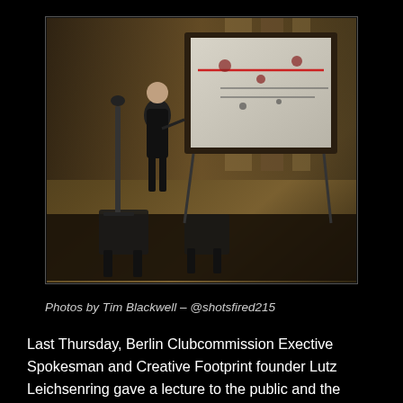[Figure (photo): A person standing and presenting next to a large projection screen displaying a map or diagram, in a wood-paneled room with chairs visible in the foreground.]
Photos by Tim Blackwell – @shotsfired215
Last Thursday, Berlin Clubcommission Exective Spokesman and Creative Footprint founder Lutz Leichsenring gave a lecture to the public and the 24HrPHL community at Liaison Room in Philadelphia. After the lecture, panelists Chris Ward,